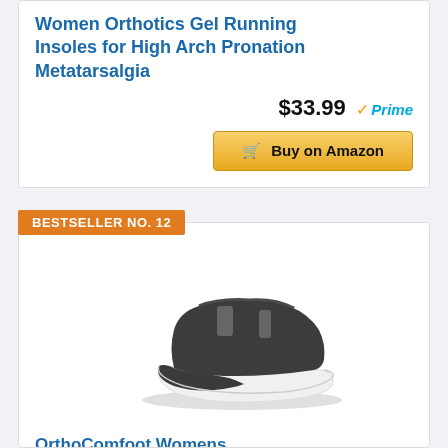Women Orthotics Gel Running Insoles for High Arch Pronation Metatarsalgia
$33.99 Prime
Buy on Amazon
BESTSELLER NO. 12
[Figure (photo): Black slip-on casual sneaker with white platform sole by OrthoComfoot]
OrthoComfoot Womens Comfortable Leather Shoes for